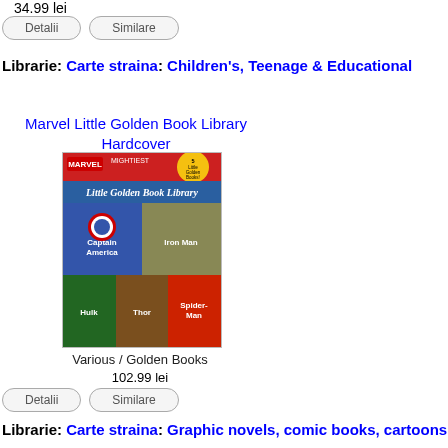34.99 lei
Detalii   Similare
Librarie: Carte straina: Children's, Teenage & Educational
Marvel Little Golden Book Library Hardcover
[Figure (photo): Book cover of Marvel Little Golden Book Library Hardcover showing Marvel superheroes including Spider-Man, Captain America, Hulk, Thor, and Iron Man]
Various / Golden Books
102.99 lei
Detalii   Similare
Librarie: Carte straina: Graphic novels, comic books, cartoons
Captain Marvel: Earth's Mightiest Hero Volume 1 Paperback